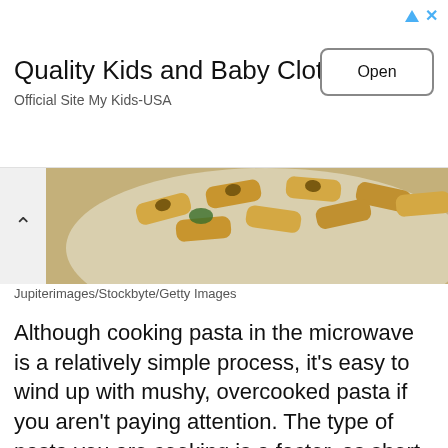[Figure (screenshot): Advertisement banner: 'Quality Kids and Baby Clothing / Official Site My Kids-USA' with an 'Open' button and ad icons (triangle and X) in top right]
[Figure (photo): Photo of penne pasta on a white plate, cropped with a chevron/back button on the left]
Jupiterimages/Stockbyte/Getty Images
Although cooking pasta in the microwave is a relatively simple process, it's easy to wind up with mushy, overcooked pasta if you aren't paying attention. The type of pasta you are cooking is a factor, as short, sturdy pasta noodles such as penne rigatone do not cook at the same rate as long, delicate noodles like spaghetti or angel hair pasta. Paying attention to the pasta-to-water ratio and periodically checking the firmness of the noodles is crucial to